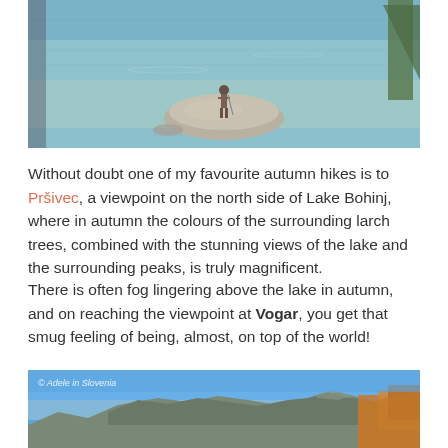[Figure (photo): Person standing on a rock at the edge of a clear alpine lake, with turquoise water and a pine tree visible on the right]
Without doubt one of my favourite autumn hikes is to Pršivec, a viewpoint on the north side of Lake Bohinj, where in autumn the colours of the surrounding larch trees, combined with the stunning views of the lake and the surrounding peaks, is truly magnificent.
There is often fog lingering above the lake in autumn, and on reaching the viewpoint at Vogar, you get that smug feeling of being, almost, on top of the world!
[Figure (photo): Mountain panorama view from Vogar above Lake Bohinj, showing blue sky, mountain ridges and autumn-coloured trees on the right side. Watermark reads: © Adele in Slovenia]